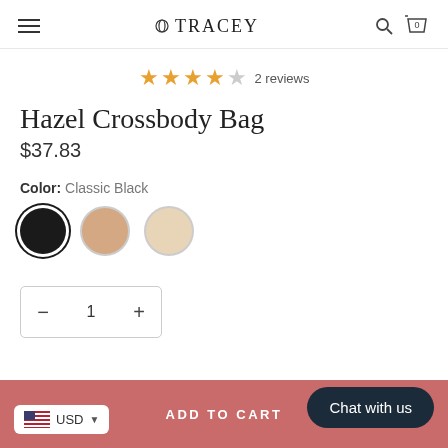O TRACEY
★★★★☆ 2 reviews
Hazel Crossbody Bag
$37.83
Color: Classic Black
[Figure (other): Three color swatches: Classic Black (selected, dark circle with black border), a nude/tan color, and a cream/beige color]
− 1 +
USD
ADD TO CART
Chat with us